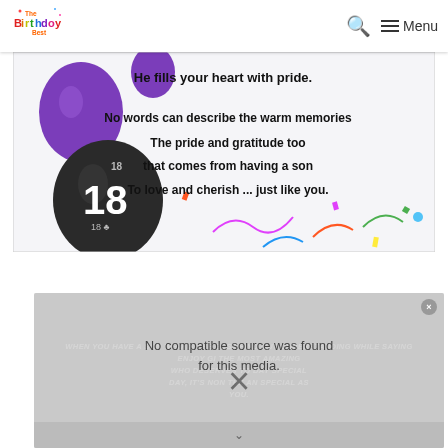The Birthday Best — Menu
[Figure (photo): Birthday card image showing purple and black balloons with the number 18, confetti and streamers on a white background, with poem text: 'He fills your heart with pride. No words can describe the warm memories The pride and gratitude too that comes from having a son To love and cherish ... just like you.']
[Figure (screenshot): Video media player overlay showing 'No compatible source was found for this media.' error message with a close button and X dismiss icon, overlaid on faded italic text in the background.]